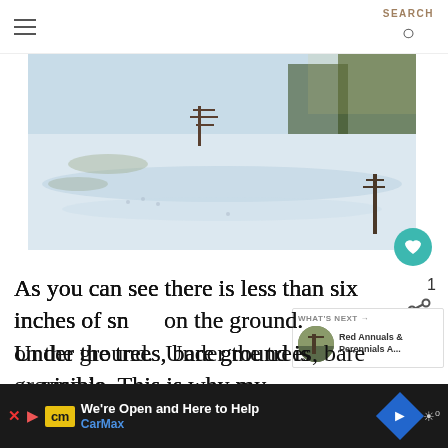SEARCH
[Figure (photo): Snow-covered field with bare trees and patches of exposed ground, winter landscape scene]
As you can see there is less than six inches of snow on the ground.  Under the trees, bare ground is visible.  This is why my perennials are in danger from snow and cold temperatures.  I already live in USDA Hardiness Zone 3 and love perennials and would hate to lose them to
[Figure (other): WHAT'S NEXT -> Red Annuals & Perennials A... promotional thumbnail]
[Figure (other): CarMax advertisement: We're Open and Here to Help, CarMax logo with blue diamond arrow icon]